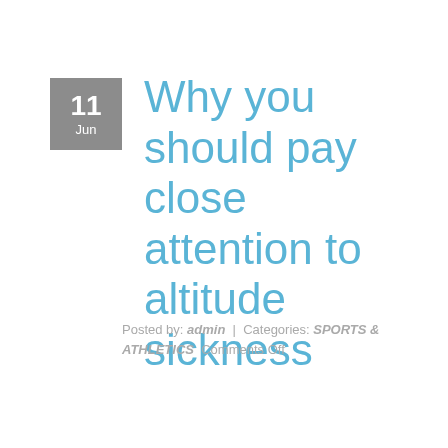Why you should pay close attention to altitude sickness
Posted by: admin  |  Categories: SPORTS & ATHLETICS  Comments Off